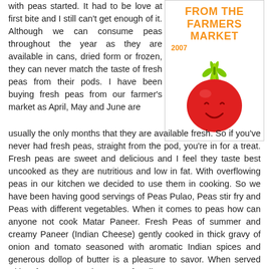with peas started. It had to be love at first bite and I still can't get enough of it. Although we can consume peas throughout the year as they are available in cans, dried form or frozen, they can never match the taste of fresh peas from their pods. I have been buying fresh peas from our farmer's market as April, May and June are usually the only months that they are available fresh. So if you've never had fresh peas, straight from the pod, you're in for a treat. Fresh peas are sweet and delicious and I feel they taste best uncooked as they are nutritious and low in fat. With overflowing peas in our kitchen we decided to use them in cooking. So we have been having good servings of Peas Pulao, Peas stir fry and Peas with different vegetables. When it comes to peas how can anyone not cook Matar Paneer. Fresh Peas of summer and creamy Paneer (Indian Cheese) gently cooked in thick gravy of onion and tomato seasoned with aromatic Indian spices and generous dollop of butter is a pleasure to savor. When served with soft Butter Naan it's a treat for all your senses.
[Figure (illustration): Farmers market logo with orange bold text 'FROM THE FARMERS MARKET' and '2007', with a smiling red tomato illustration below]